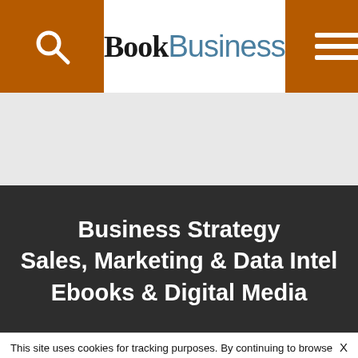BookBusiness
Business Strategy
Sales, Marketing & Data Intel
Ebooks & Digital Media
This site uses cookies for tracking purposes. By continuing to browse our website, you agree to the storing of first- and third-party cookies on your device to enhance site navigation, analyze site usage, and assist in our marketing and communication efforts. Privacy Policy | Terms of Use | Close